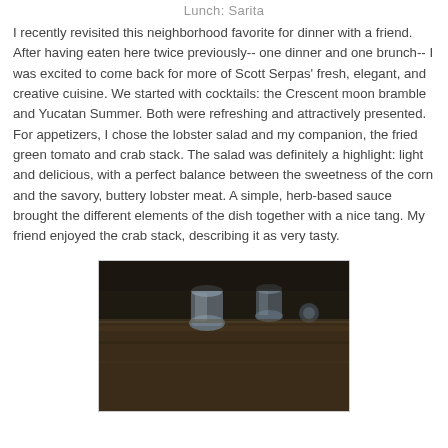Lunch: Sarita
I recently revisited this neighborhood favorite for dinner with a friend. After having eaten here twice previously-- one dinner and one brunch-- I was excited to come back for more of Scott Serpas' fresh, elegant, and creative cuisine. We started with cocktails: the Crescent moon bramble and Yucatan Summer. Both were refreshing and attractively presented. For appetizers, I chose the lobster salad and my companion, the fried green tomato and crab stack. The salad was definitely a highlight: light and delicious, with a perfect balance between the sweetness of the corn and the savory, buttery lobster meat. A simple, herb-based sauce brought the different elements of the dish together with a nice tang. My friend enjoyed the crab stack, describing it as very tasty.
[Figure (photo): A dark photograph of a restaurant table setting, showing what appears to be glasses or tableware on a wooden surface in dim lighting.]